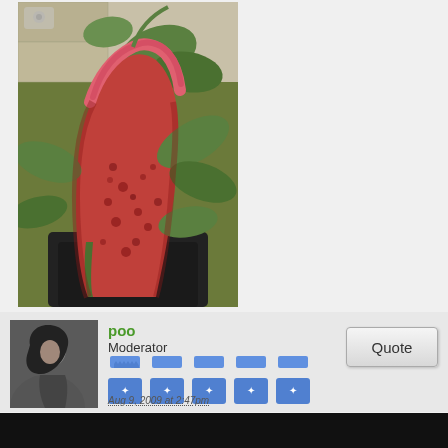[Figure (photo): Photo of a red and green Nepenthes pitcher plant with speckled red pitcher and pink peristome, surrounded by green foliage, with a watermark/camera icon in top-left corner]
[Figure (illustration): User avatar: black and white side profile photo of a person wearing a dark head covering]
poo
Moderator
[Figure (other): Five blue medal/badge icons in two rows (3 top, 2 bottom shifted), each showing a ribbon top and a crest/shield design below]
Aug 9, 2009 at 2:47pm
Quote
[Figure (photo): Photo of a carnivorous flowering plant (possibly Aristolochia or similar) with dark maroon and yellow-speckled flower, hanging tendrils and green stems against a dark background]